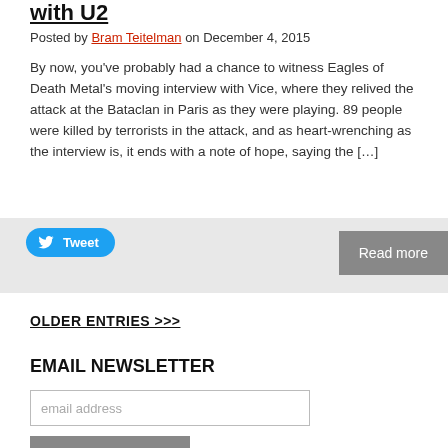with U2
Posted by Bram Teitelman on December 4, 2015
By now, you've probably had a chance to witness Eagles of Death Metal's moving interview with Vice, where they relived the attack at the Bataclan in Paris as they were playing. 89 people were killed by terrorists in the attack, and as heart-wrenching as the interview is, it ends with a note of hope, saying the […]
Tweet
Read more
OLDER ENTRIES >>>
EMAIL NEWSLETTER
email address
Subscribe